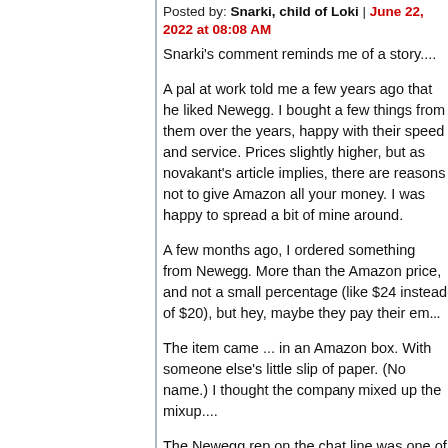Posted by: Snarki, child of Loki | June 22, 2022 at 08:08 AM
Snarki's comment reminds me of a story....
A pal at work told me a few years ago that he liked Newegg. I bought a few things from them over the years, happy with their speed and service. Prices slightly higher, but as novakant's article implies, there are reasons not to give Amazon all your money. I was happy to spread a bit of mine around.
A few months ago, I ordered something from Newegg. More than the Amazon price, and not a small percentage (like $24 instead of $20), but hey, maybe they pay their em...
The item came ... in an Amazon box. With someone else's little slip of paper. (No name.) I thought the company mixed up the mixup....
The Newegg rep on the chat line was one of those people whose first instinct when they hear about a problem is to make sure the customer knows it is incontrovertibly *YOUR FAULT*.
She basically said: You got your item, the warehouse says so, why are you complaining (I wasn't) about what box it came in?
She was so snotty that I told Newegg I'd never s...